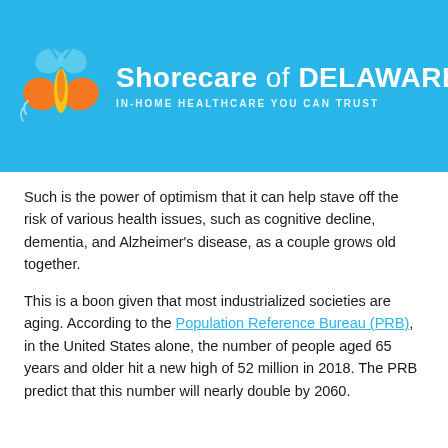[Figure (logo): Shorecare of Delaware logo with butterfly graphic and tagline 'IN-HOME HEALTHCARE YOU CAN TRUST' on a blue background]
Such is the power of optimism that it can help stave off the risk of various health issues, such as cognitive decline, dementia, and Alzheimer's disease, as a couple grows old together.
This is a boon given that most industrialized societies are aging. According to the Population Reference Bureau (PRB), in the United States alone, the number of people aged 65 years and older hit a new high of 52 million in 2018. The PRB predict that this number will nearly double by 2060.